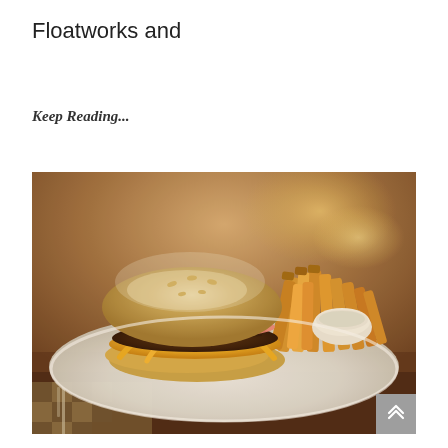Floatworks and
Keep Reading...
[Figure (photo): A cheeseburger with lettuce, tomato, pickles, and melted cheese on a bun, served on a white plate with thick-cut french fries and a small side dish, placed on a checkered cloth with a fork visible. Restaurant setting with warm bokeh background lighting.]